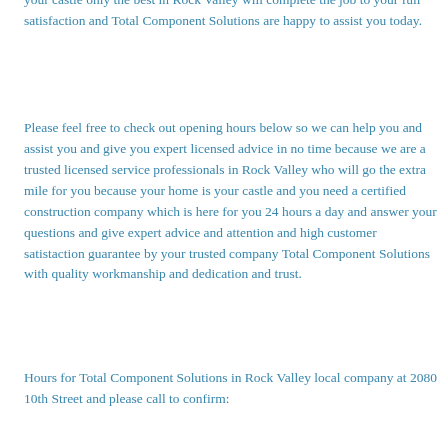your castle only the best in Rock Valley will complete the job to your full satisfaction and Total Component Solutions are happy to assist you today.
Please feel free to check out opening hours below so we can help you and assist you and give you expert licensed advice in no time because we are a trusted licensed service professionals in Rock Valley who will go the extra mile for you because your home is your castle and you need a certified construction company which is here for you 24 hours a day and answer your questions and give expert advice and attention and high customer satistaction guarantee by your trusted company Total Component Solutions with quality workmanship and dedication and trust.
Hours for Total Component Solutions in Rock Valley local company at 2080 10th Street and please call to confirm: